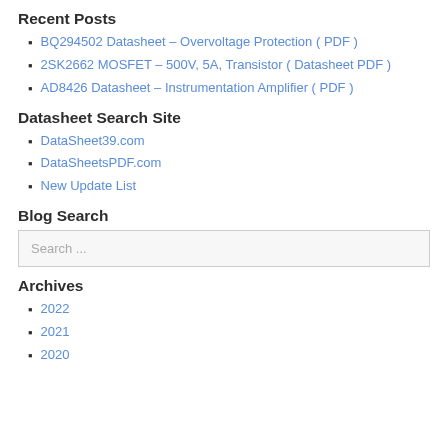Recent Posts
BQ294502 Datasheet – Overvoltage Protection ( PDF )
2SK2662 MOSFET – 500V, 5A, Transistor ( Datasheet PDF )
AD8426 Datasheet – Instrumentation Amplifier ( PDF )
Datasheet Search Site
DataSheet39.com
DataSheetsPDF.com
New Update List
Blog Search
Search ...
Archives
2022
2021
2020